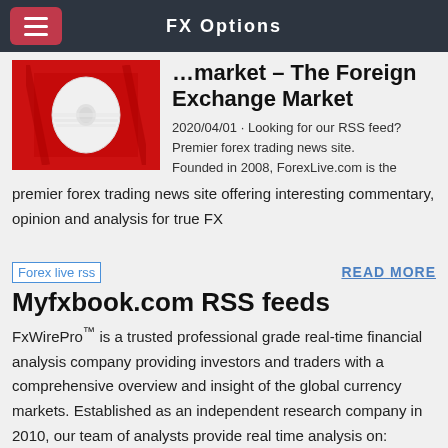FX Options
…market – The Foreign Exchange Market
2020/04/01 · Looking for our RSS feed? Premier forex trading news site. Founded in 2008, ForexLive.com is the premier forex trading news site offering interesting commentary, opinion and analysis for true FX
[Figure (photo): Thumbnail image showing a toilet paper roll on a red background]
READ MORE
[Figure (other): Forex live rss image placeholder]
Myfxbook.com RSS feeds
FxWirePro™ is a trusted professional grade real-time financial analysis company providing investors and traders with a comprehensive overview and insight of the global currency markets. Established as an independent research company in 2010, our team of analysts provide real time analysis on: